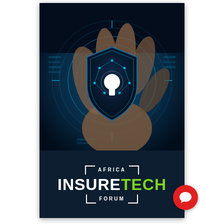[Figure (illustration): Digital security illustration: a hand holding a glowing blue sphere with a dark shield icon featuring a keyhole in the center, surrounded by circular HUD-style rings and binary code patterns on a dark blue background.]
AFRICA INSURETECH FORUM
[Figure (logo): Red circular chat bubble icon in the bottom-right corner.]